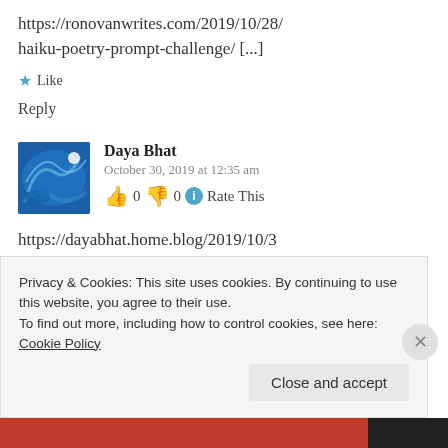https://ronovanwrites.com/2019/10/28/haiku-poetry-prompt-challenge/ [...]
★ Like
Reply
Daya Bhat
October 30, 2019 at 12:35 am
👍 0 👎 0 ℹ Rate This
https://dayabhat.home.blog/2019/10/30/haiku-riverine/
Privacy & Cookies: This site uses cookies. By continuing to use this website, you agree to their use.
To find out more, including how to control cookies, see here: Cookie Policy
Close and accept